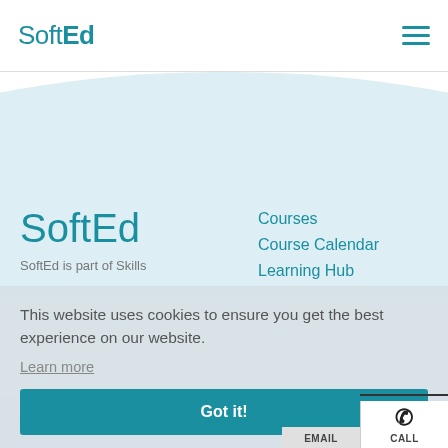SoftEd
[Figure (screenshot): SoftEd website screenshot showing header with logo and hamburger menu, light blue wave background with large SoftEd logo and navigation links (Courses, Course Calendar, Learning Hub), a cookie consent overlay with 'Learn more' link and 'Got it!' button, and footer with SoftEd U.S.A and We'd love to... text plus EMAIL and CALL buttons]
SoftEd
Courses
Course Calendar
Learning Hub
SoftEd is part of Skills
This website uses cookies to ensure you get the best experience on our website.
Learn more
Got it!
SoftEd U.S.A
We'd love to h...
EMAIL
CALL